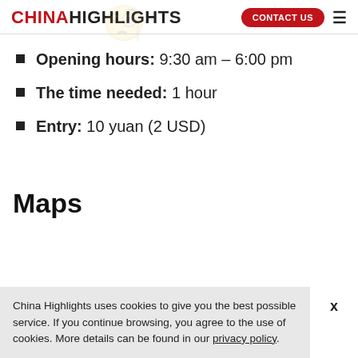CHINA HIGHLIGHTS | CONTACT US
Opening hours: 9:30 am – 6:00 pm
The time needed: 1 hour
Entry: 10 yuan (2 USD)
Maps
China Highlights uses cookies to give you the best possible service. If you continue browsing, you agree to the use of cookies. More details can be found in our privacy policy.